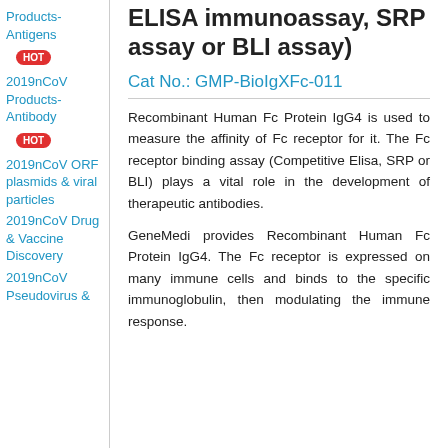Products-Antigens
HOT
2019nCoV Products-Antibody
HOT
2019nCoV ORF plasmids & viral particles
2019nCoV Drug & Vaccine Discovery
2019nCoV Pseudovirus &
ELISA immunoassay, SRP assay or BLI assay)
Cat No.: GMP-BioIgXFc-011
Recombinant Human Fc Protein IgG4 is used to measure the affinity of Fc receptor for it. The Fc receptor binding assay (Competitive Elisa, SRP or BLI) plays a vital role in the development of therapeutic antibodies.
GeneMedi provides Recombinant Human Fc Protein IgG4. The Fc receptor is expressed on many immune cells and binds to the specific immunoglobulin, then modulating the immune response.